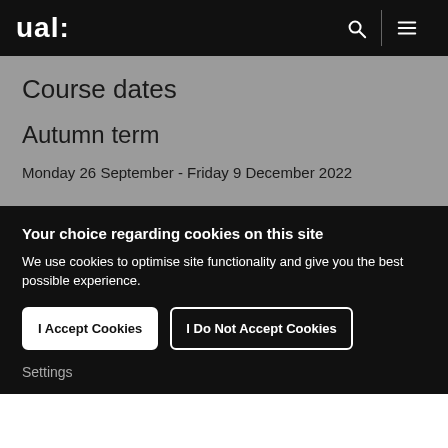ual:
Course dates
Autumn term
Monday 26 September - Friday 9 December 2022
Your choice regarding cookies on this site
We use cookies to optimise site functionality and give you the best possible experience.
I Accept Cookies
I Do Not Accept Cookies
Settings